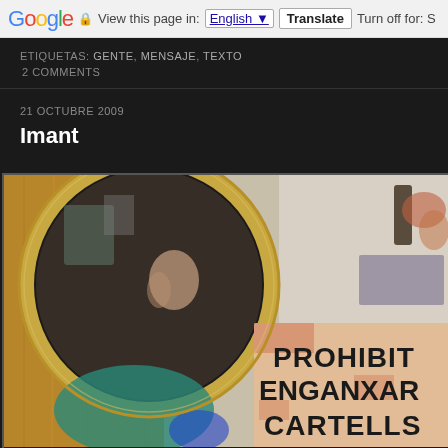Google | View this page in: English | Translate | Turn off for: S
ETIQUETAS: GENTE, MENSAJE, TEXTO
2 COMMENTS
21 OCTUBRE 2009
Imant
[Figure (photo): Photo showing a round mirror on a wooden door, with a reflection and a sign reading PROHIBIT ENGANXAR CARTELLS visible in the foreground]